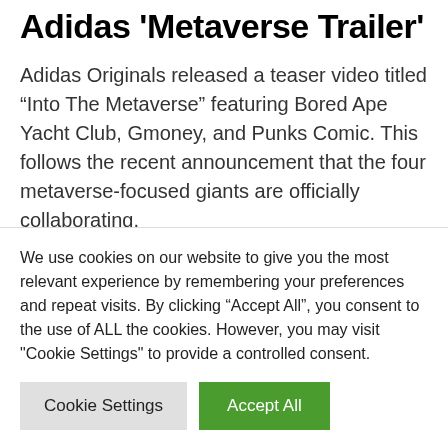Adidas 'Metaverse Trailer'
Adidas Originals released a teaser video titled “Into The Metaverse” featuring Bored Ape Yacht Club, Gmoney, and Punks Comic. This follows the recent announcement that the four metaverse-focused giants are officially collaborating.
Today we leap Into The Metaverse
We use cookies on our website to give you the most relevant experience by remembering your preferences and repeat visits. By clicking “Accept All”, you consent to the use of ALL the cookies. However, you may visit "Cookie Settings" to provide a controlled consent.